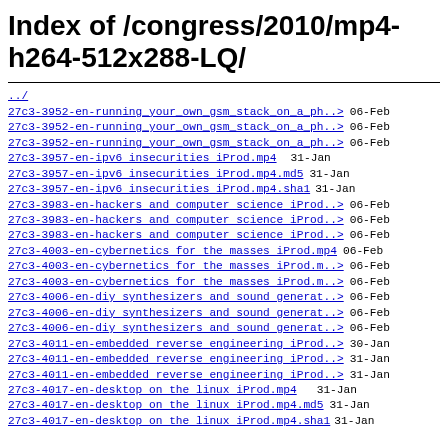Index of /congress/2010/mp4-h264-512x288-LQ/
../
27c3-3952-en-running_your_own_gsm_stack_on_a_ph..> 06-Feb
27c3-3952-en-running_your_own_gsm_stack_on_a_ph..> 06-Feb
27c3-3952-en-running_your_own_gsm_stack_on_a_ph..> 06-Feb
27c3-3957-en-ipv6 insecurities iProd.mp4 31-Jan
27c3-3957-en-ipv6 insecurities iProd.mp4.md5 31-Jan
27c3-3957-en-ipv6 insecurities iProd.mp4.sha1 31-Jan
27c3-3983-en-hackers and computer science iProd..> 06-Feb
27c3-3983-en-hackers and computer science iProd..> 06-Feb
27c3-3983-en-hackers and computer science iProd..> 06-Feb
27c3-4003-en-cybernetics for the masses iProd.mp4 06-Feb
27c3-4003-en-cybernetics for the masses iProd.m..> 06-Feb
27c3-4003-en-cybernetics for the masses iProd.m..> 06-Feb
27c3-4006-en-diy synthesizers and sound generat..> 06-Feb
27c3-4006-en-diy synthesizers and sound generat..> 06-Feb
27c3-4006-en-diy synthesizers and sound generat..> 06-Feb
27c3-4011-en-embedded reverse engineering iProd..> 30-Jan
27c3-4011-en-embedded reverse engineering iProd..> 31-Jan
27c3-4011-en-embedded reverse engineering iProd..> 31-Jan
27c3-4017-en-desktop on the linux iProd.mp4 31-Jan
27c3-4017-en-desktop on the linux iProd.mp4.md5 31-Jan
27c3-4017-en-desktop on the linux iProd.mp4.sha1 31-Jan